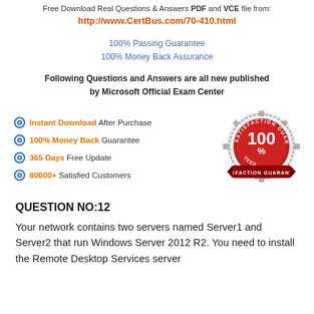Free Download Real Questions & Answers PDF and VCE file from:
http://www.CertBus.com/70-410.html
100% Passing Guarantee
100% Money Back Assurance
Following Questions and Answers are all new published by Microsoft Official Exam Center
Instant Download After Purchase
100% Money Back Guarantee
365 Days Free Update
80000+ Satisfied Customers
[Figure (illustration): Satisfaction Guaranteed badge/seal showing 100% satisfaction guaranteed]
QUESTION NO:12
Your network contains two servers named Server1 and Server2 that run Windows Server 2012 R2. You need to install the Remote Desktop Services server